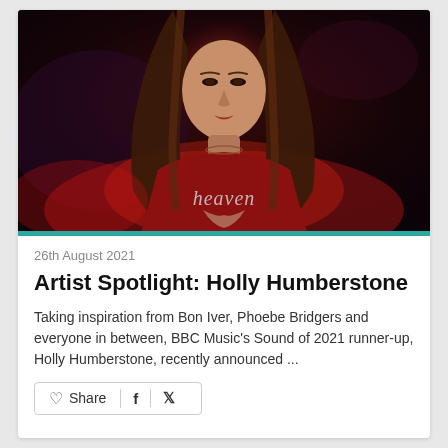[Figure (photo): Young woman with long brown hair, wearing a red 'heaven' graphic top, photographed against a dark moody background with red and purple tones.]
26th August 2021
Artist Spotlight: Holly Humberstone
Taking inspiration from Bon Iver, Phoebe Bridgers and everyone in between, BBC Music's Sound of 2021 runner-up, Holly Humberstone, recently announced ...